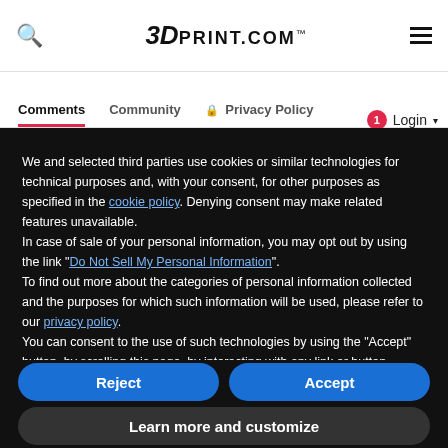3DPRINT.COM™
Comments  Community  🔒 Privacy Policy
We and selected third parties use cookies or similar technologies for technical purposes and, with your consent, for other purposes as specified in the cookie policy. Denying consent may make related features unavailable.
In case of sale of your personal information, you may opt out by using the link "Do Not Sell My Personal Information".
To find out more about the categories of personal information collected and the purposes for which such information will be used, please refer to our privacy policy.
You can consent to the use of such technologies by using the "Accept" button, by scrolling this page, by interacting with any link or button outside of this notice or by continuing to browse otherwise.
Reject
Accept
Learn more and customize